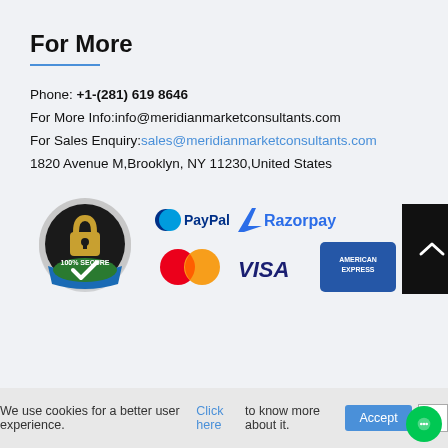For More
Phone: +1-(281) 619 8646
For More Info:info@meridianmarketconsultants.com
For Sales Enquiry:sales@meridianmarketconsultants.com
1820 Avenue M,Brooklyn, NY 11230,United States
[Figure (logo): 100% Secure badge and payment logos: PayPal, Razorpay, MasterCard, VISA, American Express, scroll-to-top button]
We use cookies for a better user experience. Click here to know more about it. Accept | X